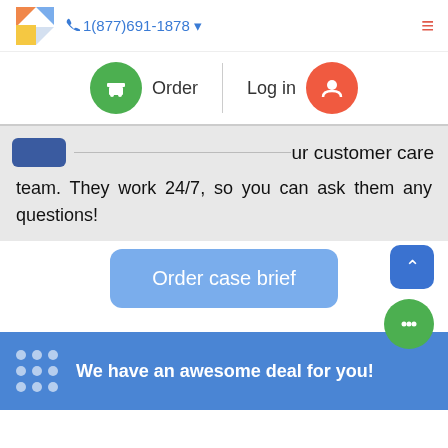[Figure (screenshot): Website header with logo, phone number 1(877)691-1878, Order and Log in navigation buttons, and a hamburger menu icon]
ur customer care team. They work 24/7, so you can ask them any questions!
[Figure (screenshot): Blue 'Order case brief' button centered on page with floating up-arrow button and green chat bubble button on the right side]
We have an awesome deal for you!